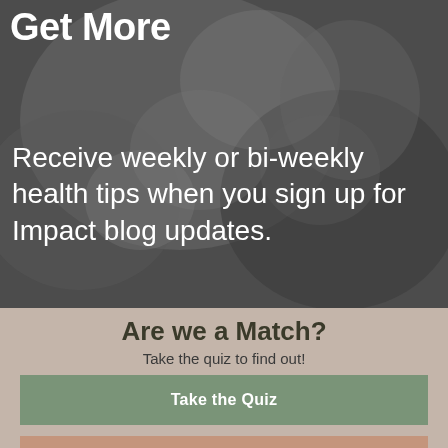[Figure (photo): Black and white photo of family members lying down together, smiling]
Get More
Receive weekly or bi-weekly health tips when you sign up for Impact blog updates.
Are we a Match?
Take the quiz to find out!
Take the Quiz
Schedule Appointment